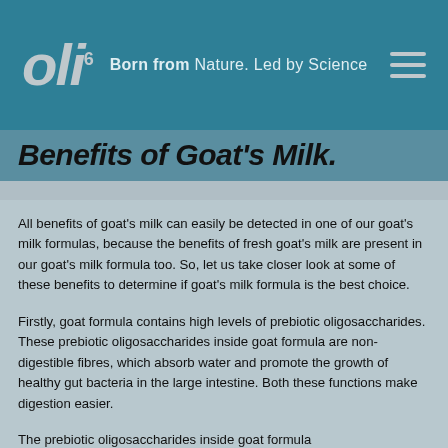Oli6 Born from Nature. Led by Science
Benefits of Goat's Milk.
All benefits of goat's milk can easily be detected in one of our goat's milk formulas, because the benefits of fresh goat's milk are present in our goat's milk formula too. So, let us take closer look at some of these benefits to determine if goat's milk formula is the best choice.
Firstly, goat formula contains high levels of prebiotic oligosaccharides. These prebiotic oligosaccharides inside goat formula are non-digestible fibres, which absorb water and promote the growth of healthy gut bacteria in the large intestine. Both these functions make digestion easier.
The prebiotic oligosaccharides inside goat formula